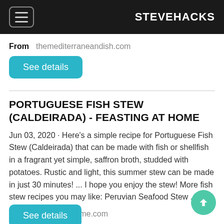STEVEHACKS
From   themediterraneandish.com
See details
PORTUGUESE FISH STEW (CALDEIRADA) - FEASTING AT HOME
Jun 03, 2020 · Here's a simple recipe for Portuguese Fish Stew (Caldeirada) that can be made with fish or shellfish in a fragrant yet simple, saffron broth, studded with potatoes. Rustic and light, this summer stew can be made in just 30 minutes! ... I hope you enjoy the stew! More fish stew recipes you may like: Peruvian Seafood Stew ...
From   feastingathome.com
See details